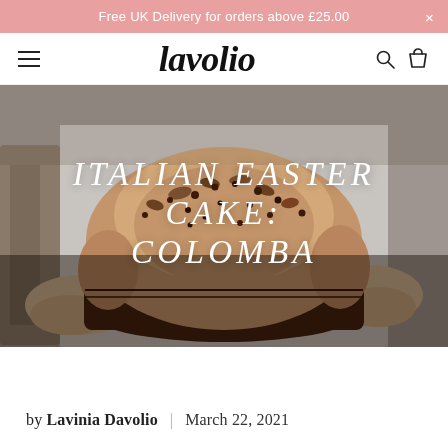Free UK Delivery for orders above £25.00
lavolio
[Figure (photo): Person holding a large Italian Colomba Easter cake in a brown paper mould, topped with chocolate chips and almond glaze, with text overlay reading 'Italian Easter Cake: Colomba']
by Lavinia Davolio  |  March 22, 2021